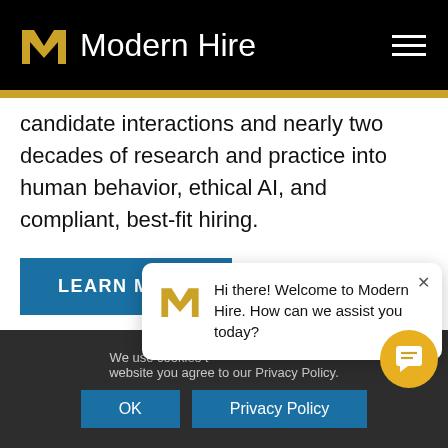Modern Hire
candidate interactions and nearly two decades of research and practice into human behavior, ethical AI, and compliant, best-fit hiring.
LEARN MORE
[Figure (other): Chat popup with Modern Hire logo and message: Hi there! Welcome to Modern Hire. How can we assist you today?]
We use cookies t... website you agree to our Privacy Policy. OK | Privacy Policy